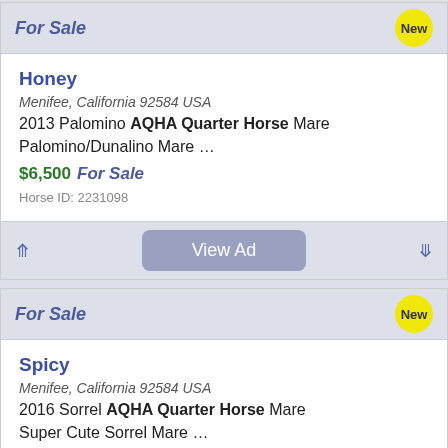For Sale
Honey
Menifee, California 92584 USA
2013 Palomino AQHA Quarter Horse Mare
Palomino/Dunalino Mare …
$6,500  For Sale
Horse ID: 2231098
For Sale
Spicy
Menifee, California 92584 USA
2016 Sorrel AQHA Quarter Horse Mare
Super Cute Sorrel Mare …
$6,000  For Sale
Horse ID: 2231097